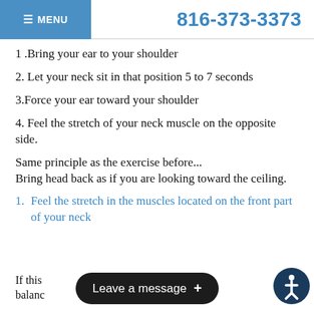MENU | 816-373-3373
1 .Bring your ear to your shoulder
2. Let your neck sit in that position 5 to 7 seconds
3.Force your ear toward your shoulder
4. Feel the stretch of your neck muscle on the opposite side.
Same principle as the exercise before...
Bring head back as if you are looking toward the ceiling.
1. Feel the stretch in the muscles located on the front part of your neck
If this [Leave a message +] ainting or loss of balanc... CONTACT YOUR